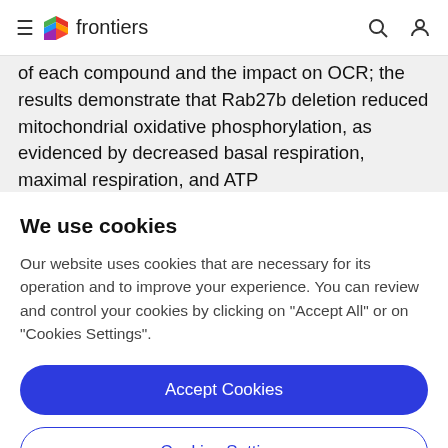frontiers
of each compound and the impact on OCR; the results demonstrate that Rab27b deletion reduced mitochondrial oxidative phosphorylation, as evidenced by decreased basal respiration, maximal respiration, and ATP
We use cookies
Our website uses cookies that are necessary for its operation and to improve your experience. You can review and control your cookies by clicking on "Accept All" or on "Cookies Settings".
Accept Cookies
Cookies Settings